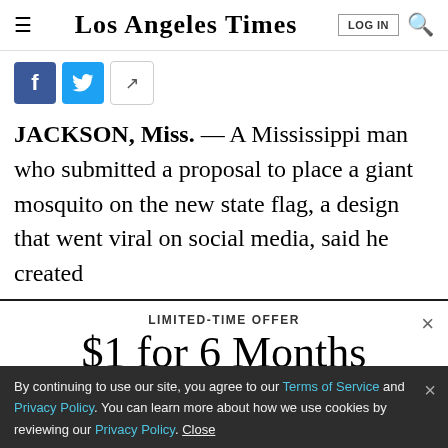Los Angeles Times
JACKSON, Miss. — A Mississippi man who submitted a proposal to place a giant mosquito on the new state flag, a design that went viral on social media, said he created
LIMITED-TIME OFFER
$1 for 6 Months
SUBSCRIBE NOW
By continuing to use our site, you agree to our Terms of Service and Privacy Policy. You can learn more about how we use cookies by reviewing our Privacy Policy. Close